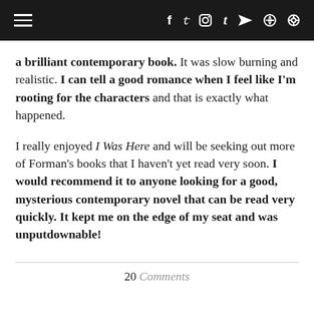Navigation bar with hamburger menu and social icons (f, twitter, instagram, tumblr, youtube, search)
a brilliant contemporary book. It was slow burning and realistic. I can tell a good romance when I feel like I'm rooting for the characters and that is exactly what happened.
I really enjoyed I Was Here and will be seeking out more of Forman's books that I haven't yet read very soon. I would recommend it to anyone looking for a good, mysterious contemporary novel that can be read very quickly. It kept me on the edge of my seat and was unputdownable!
20 Comments